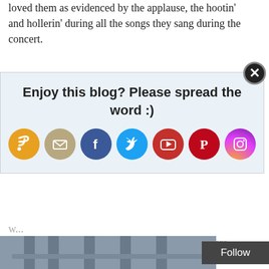loved them as evidenced by the applause, the hootin' and hollerin' during all the songs they sang during the concert.
[Figure (infographic): Pop-up overlay with text 'Enjoy this blog? Please spread the word :)' and social media icons: RSS (orange), Email (tan), Facebook (blue), Twitter (cyan), YouTube (red), Pinterest (red), Instagram (purple/gradient). Close button (X) in top right corner.]
bands they have influenced musically. And if they are touring in their 70s still wearing black makeup and leather, I will be cheering, with my bright red matte-stained lips, ostrich feathered hat, screaming like a lunatic over music imbued with honesty, depth, darkness and introspection.
[Figure (photo): Partial view of a building with columns at the bottom of the page. A 'Follow' button appears in the bottom right.]